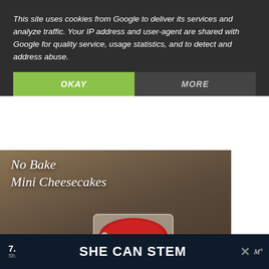This site uses cookies from Google to deliver its services and analyze traffic. Your IP address and user-agent are shared with Google for quality service, usage statistics, and to detect and address abuse.
OKAY
MORE
[Figure (photo): Photo of No Bake Mini Cheesecakes in glass jars with cherry topping and a spoon, with UI overlay elements including a heart/like button showing 8, a share button, and a 'WHAT'S NEXT' card for 'Easy Fruit Salad']
WHAT'S NEXT →
Easy Fruit Salad
7.
Sh.
SHE CAN STEM